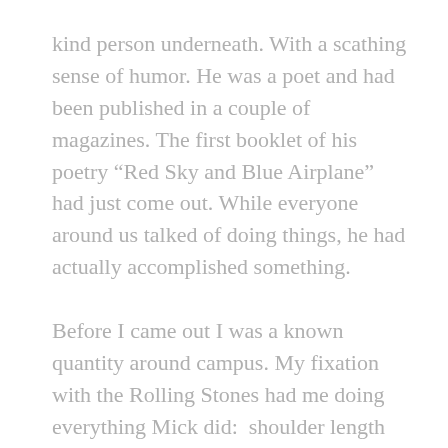kind person underneath. With a scathing sense of humor. He was a poet and had been published in a couple of magazines. The first booklet of his poetry “Red Sky and Blue Airplane” had just come out. While everyone around us talked of doing things, he had actually accomplished something.
Before I came out I was a known quantity around campus. My fixation with the Rolling Stones had me doing everything Mick did:  shoulder length hair, scooped neck jersey tops, skin-tight bell bottoms, and big black motorcycle belts. I even bought moccasins because Time said he wore